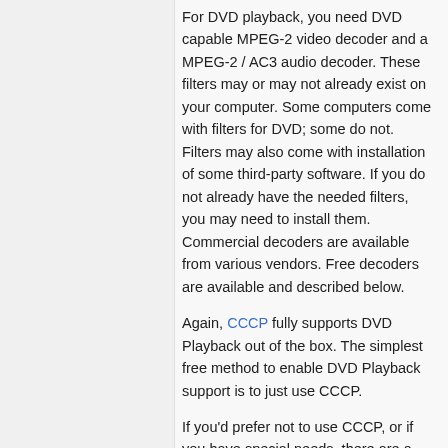For DVD playback, you need DVD capable MPEG-2 video decoder and a MPEG-2 / AC3 audio decoder. These filters may or may not already exist on your computer. Some computers come with filters for DVD; some do not. Filters may also come with installation of some third-party software. If you do not already have the needed filters, you may need to install them. Commercial decoders are available from various vendors. Free decoders are available and described below.
Again, CCCP fully supports DVD Playback out of the box. The simplest free method to enable DVD Playback support is to just use CCCP.
If you'd prefer not to use CCCP, or if you have special needs, there are a wide variety of other Filters available that can handle DVD playback. Some of these alternative options, if properly configured, can provide absolutely stunning playback quality which meets (and often exceeds) the quality available from the best set-top upscaling DVD Players commercially available. Check the DirectShow Playback